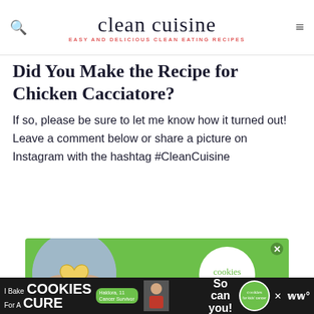clean cuisine — EASY AND DELICIOUS CLEAN EATING RECIPES
Did You Make the Recipe for Chicken Cacciatore?
If so, please be sure to let me know how it turned out! Leave a comment below or share a picture on Instagram with the hashtag #CleanCuisine
[Figure (photo): Advertisement: Cookies for Kids' Cancer — hands holding a heart-shaped cookie, with 'your HOBBY:' text overlay and Cookies for Kids' Cancer logo circle]
[Figure (photo): Bottom banner advertisement: 'I Bake COOKIES For A CURE — Haldora, 11 Cancer Survivor — So can you! Cookies for Kids' Cancer logo']